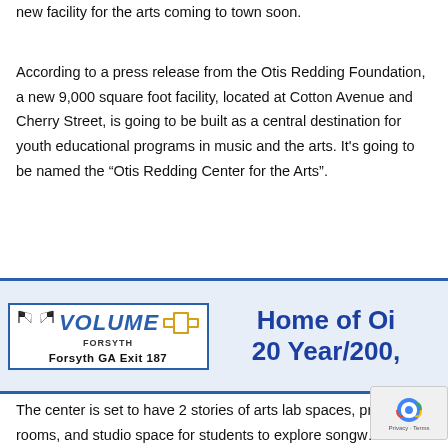new facility for the arts coming to town soon.
According to a press release from the Otis Redding Foundation, a new 9,000 square foot facility, located at Cotton Avenue and Cherry Street, is going to be built as a central destination for youth educational programs in music and the arts. It's going to be named the “Otis Redding Center for the Arts”.
[Figure (other): Advertisement for Volume Chevrolet Forsyth. Shows the Volume Chevrolet logo with checkered flags and Chevrolet bowtie, 'Forsyth GA Exit 187', and text reading 'Home of Oi... 20 Year/200,...']
The center is set to have 2 stories of arts lab spaces, practice rooms, and studio space for students to explore songw... production, performance, and more. Along with this ne... space, an outdoor amphitheater will open up into downtown